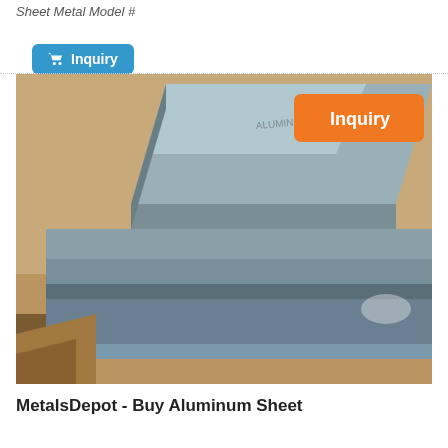Sheet Metal Model #
Inquiry
[Figure (photo): Photograph of aluminum sheet metal plates stacked on brown paper/cardboard, showing the edges and surfaces of the sheets. An orange 'Inquiry' button overlay appears in the top-right of the image.]
MetalsDepot - Buy Aluminum Sheet